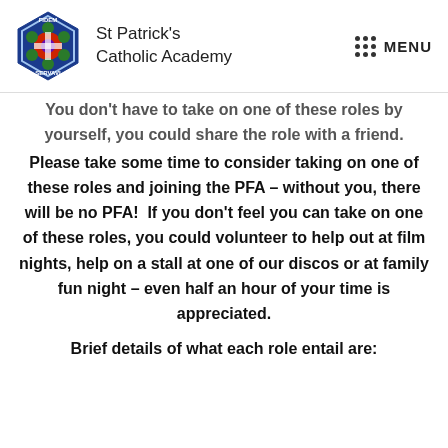St Patrick's Catholic Academy | MENU
You don't have to take on one of these roles by yourself, you could share the role with a friend. Please take some time to consider taking on one of these roles and joining the PFA – without you, there will be no PFA! If you don't feel you can take on one of these roles, you could volunteer to help out at film nights, help on a stall at one of our discos or at family fun night – even half an hour of your time is appreciated.
Brief details of what each role entail are: